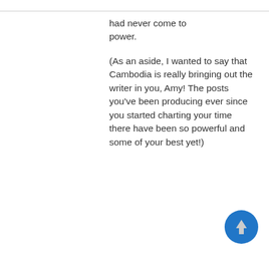had never come to power.
(As an aside, I wanted to say that Cambodia is really bringing out the writer in you, Amy! The posts you've been producing ever since you started charting your time there have been so powerful and some of your best yet!)
[Figure (other): Blue circular scroll-to-top button with white upward arrow]